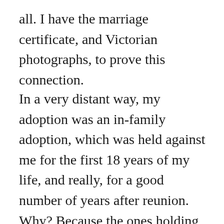all. I have the marriage certificate, and Victorian photographs, to prove this connection.
In a very distant way, my adoption was an in-family adoption, which was held against me for the first 18 years of my life, and really, for a good number of years after reunion. Why? Because the ones holding this secret lied to me. This includes